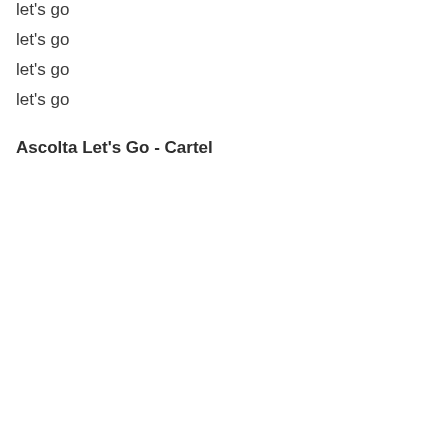let's go
let's go
let's go
let's go
Ascolta Let's Go - Cartel